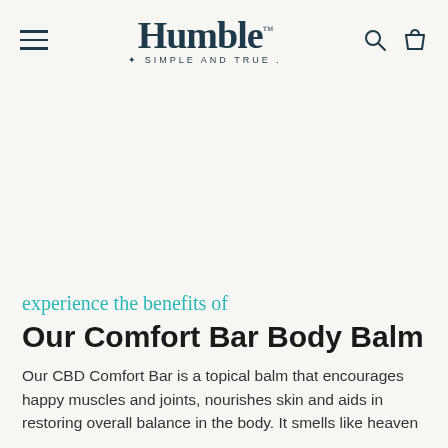Humble™ SIMPLE AND TRUE
experience the benefits of
Our Comfort Bar Body Balm
Our CBD Comfort Bar is a topical balm that encourages happy muscles and joints, nourishes skin and aids in restoring overall balance in the body. It smells like heaven